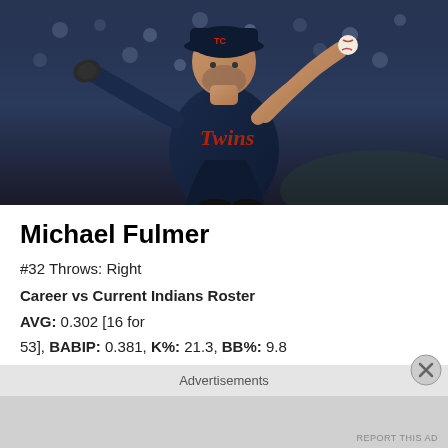[Figure (photo): Michael Fulmer, Minnesota Twins pitcher in navy blue uniform, in pitching wind-up stance holding baseball, crowd in background]
Michael Fulmer
#32 Throws: Right
Career vs Current Indians Roster
AVG: 0.302 [16 for 53], BABIP: 0.381, K%: 21.3, BB%: 9.8
FIP: 2.54 Strikeout: 13 Single: 12 Flyout: 9 Groundout:
8 Walk: 6 Double: 4 Pop Out: 3 Lineout: 3 Grounded
Advertisements